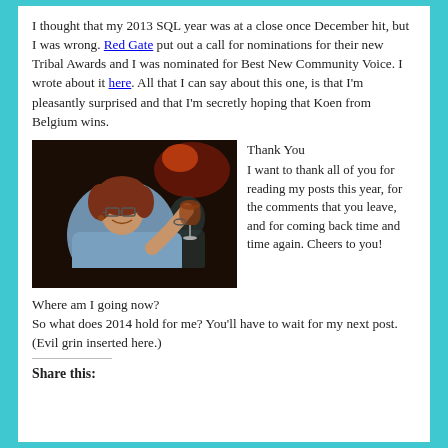I thought that my 2013 SQL year was at a close once December hit, but I was wrong. Red Gate put out a call for nominations for their new Tribal Awards and I was nominated for Best New Community Voice. I wrote about it here. All that I can say about this one, is that I'm pleasantly surprised and that I'm secretly hoping that Koen from Belgium wins.
[Figure (photo): Woman with glasses smiling and holding up a wine glass in a restaurant setting]
Thank You
I want to thank all of you for reading my posts this year, for the comments that you leave, and for coming back time and time again. Cheers to you!
Where am I going now?
So what does 2014 hold for me? You'll have to wait for my next post. (Evil grin inserted here.)
Share this: